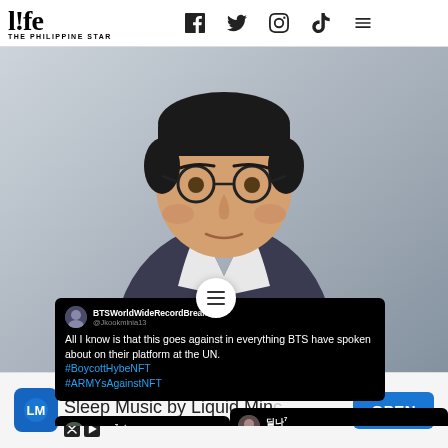life THE PHILIPPINE STAR — navigation bar with Facebook, Twitter, Instagram, TikTok icons and hamburger menu
[Figure (photo): Portrait photo of a Korean man with round glasses, wearing a dark blazer over a white shirt, against a light grey background. Overlaid with several Twitter/X screenshot tweets about BTS NFT controversy. Tweet 1 by BTSWorldWideRecordBreaker (@Jkookminia13): 'All I know is that this goes against in everything BTS have spoken about on their platform at the UN. #BoycottHybeNFT #ARMYsAgainstNFT'. Tweet 2 by 딜나 (@milina_xd): 'I miss the old era MONEY made them forget we are hu[mans]'. Tweet 3 by Kayra with star emoji (@jungkook_ID) partially visible.]
All I know is that this goes against in everything BTS have spoken about on their platform at the UN. #BoycottHybeNFT #ARMYsAgainstNFT
I miss the old era MONEY made them forget we are hu[mans]
[Figure (infographic): Advertisement banner: Liquid Mind® — Sleep Music by Liquid Mind — with OPEN button in blue]